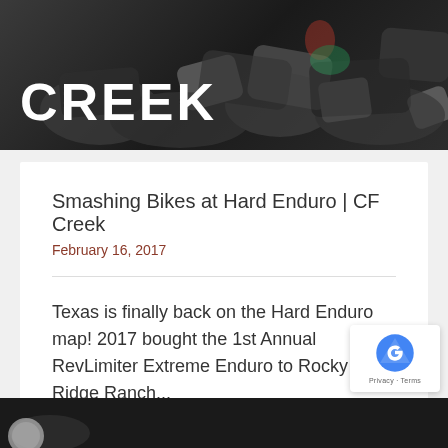[Figure (photo): Banner image showing motorcycles on rocky terrain with large white text 'CREEK' overlaid]
Smashing Bikes at Hard Enduro | CF Creek
February 16, 2017
Texas is finally back on the Hard Enduro map! 2017 bought the 1st Annual RevLimiter Extreme Enduro to Rocky Ridge Ranch...
[Figure (screenshot): Bottom banner image partial view]